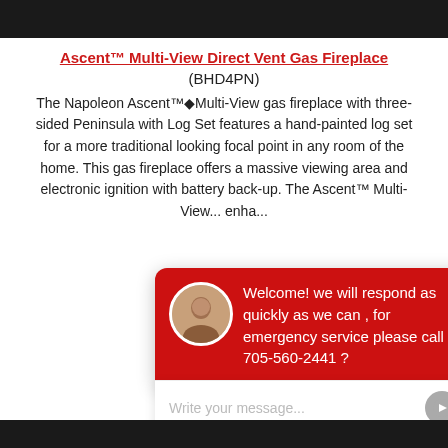[Figure (photo): Dark top bar image, partial fireplace product photo]
Ascent™ Multi-View Direct Vent Gas Fireplace
(BHD4PN)
The Napoleon Ascent™◆Multi-View gas fireplace with three-sided Peninsula with Log Set features a hand-painted log set for a more traditional looking focal point in any room of the home. This gas fireplace offers a massive viewing area and electronic ignition with battery back-up. The Ascent™ Multi-View... enha...
[Figure (screenshot): Chat popup widget with avatar photo, red background message: 'Welcome! we will respond as quickly as we can , for emergency service please call 705-560-2441 ?' and input field 'Write your message...']
[Figure (photo): Dark bottom bar image]